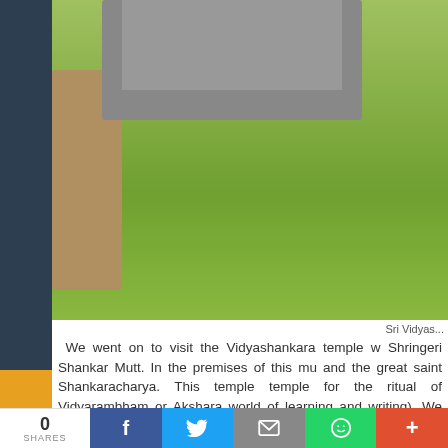[Figure (photo): Outdoor photo showing green lawn, stone monument/structure and rocks at what appears to be temple grounds]
Sri Vidyas...
We went on to visit the Vidyashankara temple w... Shringeri Shankar Mutt. In the premises of this mu... and the great saint Shankaracharya. This temple... temple for the ritual of Vidyarambham or Akshara... world of learning and writing). We witnessed a few... kids write their first letters of their mother tongue... prasadam (Lunch) which is served here to all, and v... Other places to visit nearby: Shivamogga, Gajar... Centre, Bhadravathi and many such.
0 SHARES